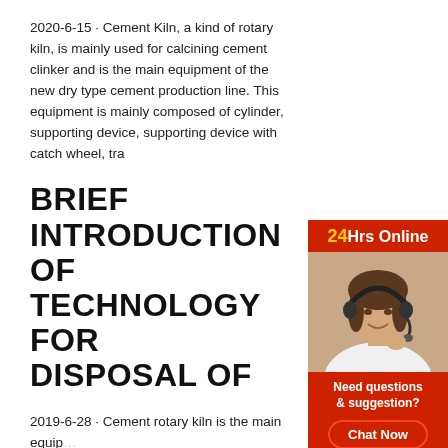2020-6-15 · Cement Kiln, a kind of rotary kiln, is mainly used for calcining cement clinker and is the main equipment of the new dry type cement production line. This equipment is mainly composed of cylinder, supporting device, supporting device with catch wheel, tra
BRIEF INTRODUCTION OF TECHNOLOGY FOR DISPOSAL OF
2019-6-28 · Cement rotary kiln is the main equip... clinker dry and wet production line. Rotary kiln is w... gold treatment, chemical industry, building refracto... environmental protection and other industries. A la... research and practice show that the cement rotary... combustion temperature, long residence time in th... pressure operation and ...
[Figure (photo): Sidebar with red background showing a customer service representative with headset, 24Hrs Online label, Need questions & suggestion? text, Chat Now button, Enquiry link, and limingjlmofen link]
CEMENT KILN'S